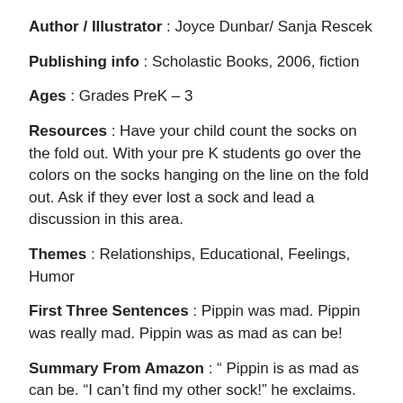Author / Illustrator : Joyce Dunbar/ Sanja Rescek
Publishing info : Scholastic Books, 2006, fiction
Ages : Grades PreK – 3
Resources : Have your child count the socks on the fold out. With your pre K students go over the colors on the socks hanging on the line on the fold out. Ask if they ever lost a sock and lead a discussion in this area.
Themes : Relationships, Educational, Feelings, Humor
First Three Sentences : Pippin was mad. Pippin was really mad. Pippin was as mad as can be!
Summary From Amazon : " Pippin is as mad as can be. "I can't find my other sock!" he exclaims. "My yellow sock with clocks, just like the one I am wearing!" Where do